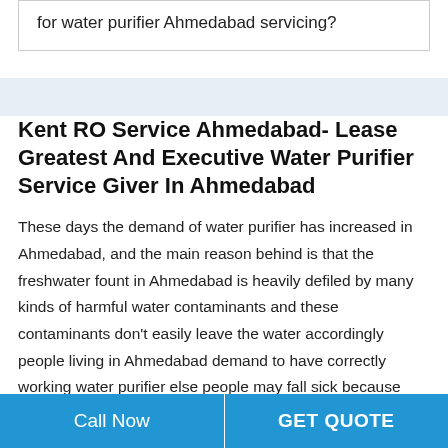for water purifier Ahmedabad servicing?
Kent RO Service Ahmedabad- Lease Greatest And Executive Water Purifier Service Giver In Ahmedabad
These days the demand of water purifier has increased in Ahmedabad, and the main reason behind is that the freshwater fount in Ahmedabad is heavily defiled by many kinds of harmful water contaminants and these contaminants don't easily leave the water accordingly people living in Ahmedabad demand to have correctly working water purifier else people may fall sick because
Call Now | GET QUOTE